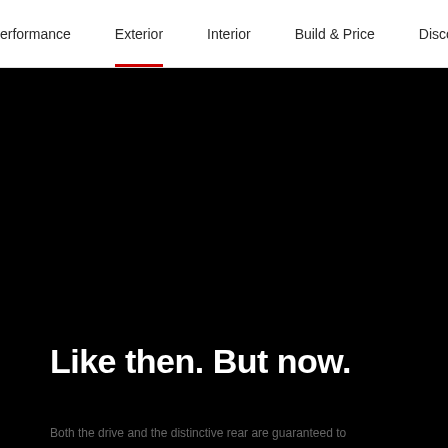erformance | Exterior | Interior | Build & Price | Discov...
[Figure (photo): Dark/black background image of a car exterior, occupying most of the page below the navigation bar.]
Like then. But now.
Both the drive and the distinctive rear are guaranteed to...